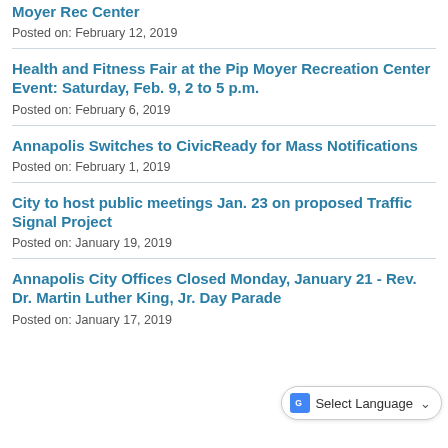Moyer Rec Center
Posted on: February 12, 2019
Health and Fitness Fair at the Pip Moyer Recreation Center Event: Saturday, Feb. 9, 2 to 5 p.m.
Posted on: February 6, 2019
Annapolis Switches to CivicReady for Mass Notifications
Posted on: February 1, 2019
City to host public meetings Jan. 23 on proposed Traffic Signal Project
Posted on: January 19, 2019
Annapolis City Offices Closed Monday, January 21 - Rev. Dr. Martin Luther King, Jr. Day Parade
Posted on: January 17, 2019